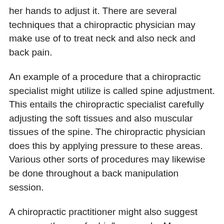her hands to adjust it. There are several techniques that a chiropractic physician may make use of to treat neck and also neck and back pain.
An example of a procedure that a chiropractic specialist might utilize is called spine adjustment. This entails the chiropractic specialist carefully adjusting the soft tissues and also muscular tissues of the spine. The chiropractic physician does this by applying pressure to these areas. Various other sorts of procedures may likewise be done throughout a back manipulation session.
A chiropractic practitioner might also suggest massage therapy for his/her people. Massage treatment has actually been revealed to help reduce discomfort as well as boost the total sensation of wellness. It can kick back the shoulders as well as stretching workouts can loosen up the